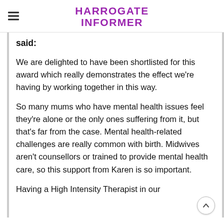HARROGATE INFORMER
said:
We are delighted to have been shortlisted for this award which really demonstrates the effect we're having by working together in this way.
So many mums who have mental health issues feel they're alone or the only ones suffering from it, but that's far from the case. Mental health-related challenges are really common with birth. Midwives aren't counsellors or trained to provide mental health care, so this support from Karen is so important.
Having a High Intensity Therapist in our